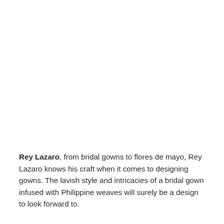Rey Lazaro, from bridal gowns to flores de mayo, Rey Lazaro knows his craft when it comes to designing gowns. The lavish style and intricacies of a bridal gown infused with Philippine weaves will surely be a design to look forward to.